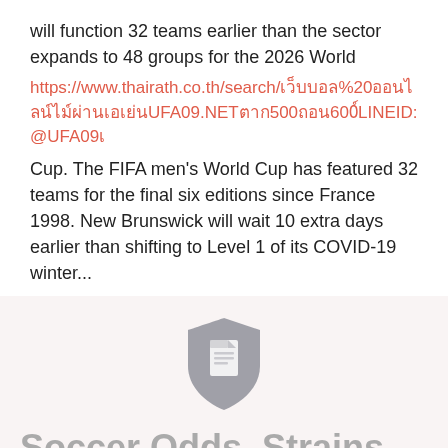will function 32 teams earlier than the sector expands to 48 groups for the 2026 World
https://www.thairath.co.th/search/เว็บบอล%20ออนไลน์ไม่ผ่านเอเย่นUFA09.NETฝาก500ถอน600์LINEID:@UFA09เ
Cup. The FIFA men's World Cup has featured 32 teams for the final six editions since France 1998. New Brunswick will wait 10 extra days earlier than shifting to Level 1 of its COVID-19 winter...
[Figure (logo): Document icon - grey shield shape with a document/file icon inside]
Soccer Odds, Strains, And On-line Betting